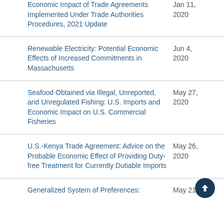Economic Impact of Trade Agreements Implemented Under Trade Authorities Procedures, 2021 Update
Renewable Electricity: Potential Economic Effects of Increased Commitments in Massachusetts
Seafood Obtained via Illegal, Unreported, and Unregulated Fishing: U.S. Imports and Economic Impact on U.S. Commercial Fisheries
U.S.-Kenya Trade Agreement: Advice on the Probable Economic Effect of Providing Duty-free Treatment for Currently Dutiable Imports
Generalized System of Preferences: